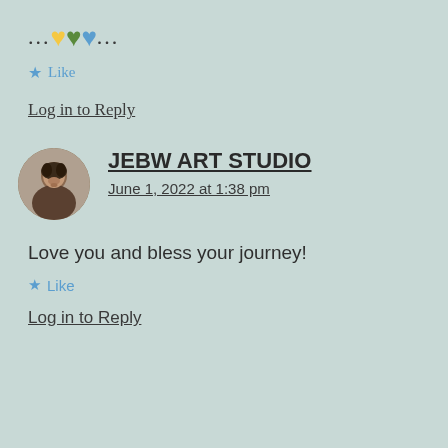... 💛💚💙 ...
★ Like
Log in to Reply
[Figure (photo): Circular avatar photo of a woman with dark hair against a dark background]
JEBW ART STUDIO
June 1, 2022 at 1:38 pm
Love you and bless your journey!
★ Like
Log in to Reply